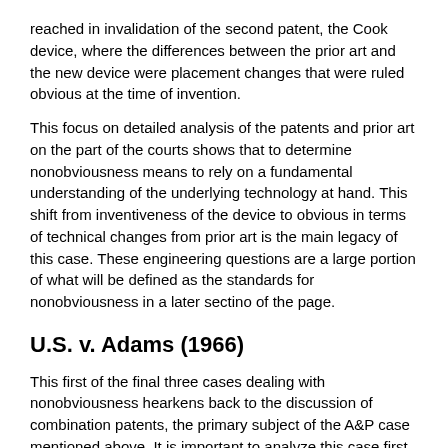reached in invalidation of the second patent, the Cook device, where the differences between the prior art and the new device were placement changes that were ruled obvious at the time of invention.
This focus on detailed analysis of the patents and prior art on the part of the courts shows that to determine nonobviousness means to rely on a fundamental understanding of the underlying technology at hand. This shift from inventiveness of the device to obvious in terms of technical changes from prior art is the main legacy of this case. These engineering questions are a large portion of what will be defined as the standards for nonobviousness in a later sectino of the page.
U.S. v. Adams (1966)
This first of the final three cases dealing with nonobviousness hearkens back to the discussion of combination patents, the primary subject of the A&P case mentioned above. It is important to analyze this case first from a technical point of view. What was contained in Adams' contended patent was a so called "wet battery" that contained a Magnesium electrode, a Copper Chloride electrode, and a cavity that when filled with water activated the battery. Adam's motivation was to create a battery that could be manufactured and shipped with no liquid contained within, and also to create a battery that was operated by water thus eliminating harmful waste and toxic exhaust created during operation of the prior art.
The court in this case, admirably applies the standards in 103 that were